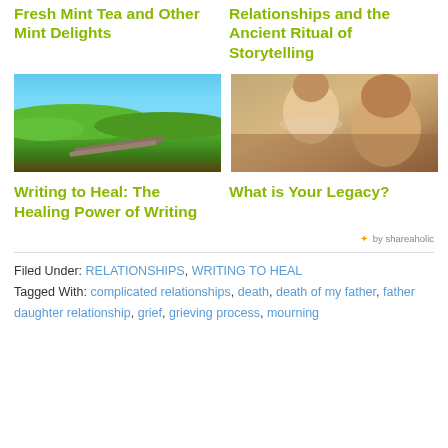Fresh Mint Tea and Other Mint Delights
Relationships and the Ancient Ritual of Storytelling
[Figure (photo): Open book lying on green grass under blue sky]
[Figure (photo): Parent holding laughing young child, warm tones]
Writing to Heal: The Healing Power of Writing
What is Your Legacy?
✦ by shareaholic
Filed Under: RELATIONSHIPS, WRITING TO HEAL
Tagged With: complicated relationships, death, death of my father, father daughter relationship, grief, grieving process, mourning